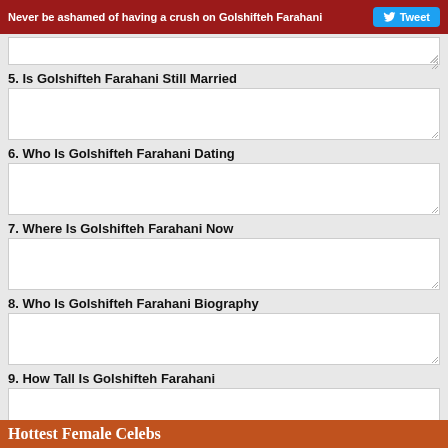Never be ashamed of having a crush on Golshifteh Farahani  Tweet
5. Is Golshifteh Farahani Still Married
6. Who Is Golshifteh Farahani Dating
7. Where Is Golshifteh Farahani Now
8. Who Is Golshifteh Farahani Biography
9. How Tall Is Golshifteh Farahani
Save Answers
Hottest Female Celebs